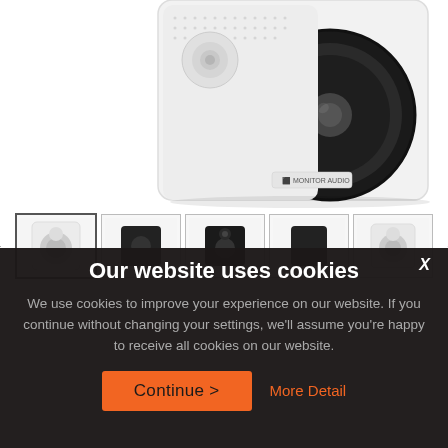[Figure (photo): White Monitor Audio speaker/subwoofer product photo showing the front face with a large circular driver, tweeter above, and brand badge at bottom. Angled 3/4 view on white background.]
[Figure (photo): Thumbnail strip showing 5 product images of Monitor Audio speakers in white and black colorways. First thumbnail is selected with a border. Navigation arrows on left and right.]
Our website uses cookies
We use cookies to improve your experience on our website. If you continue without changing your settings, we'll assume you're happy to receive all cookies on our website.
Continue >
More Detail